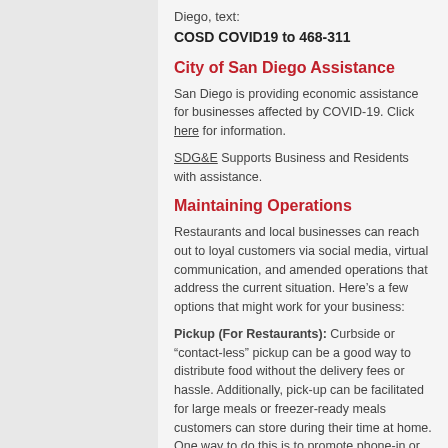Diego, text:
COSD COVID19 to 468-311
City of San Diego Assistance
San Diego is providing economic assistance for businesses affected by COVID-19. Click here for information.
SDG&E Supports Business and Residents with assistance.
Maintaining Operations
Restaurants and local businesses can reach out to loyal customers via social media, virtual communication, and amended operations that address the current situation. Here’s a few options that might work for your business:
Pickup (For Restaurants): Curbside or “contact-less” pickup can be a good way to distribute food without the delivery fees or hassle. Additionally, pick-up can be facilitated for large meals or freezer-ready meals customers can store during their time at home. One way to do this is to promote phone-in or online orders via social media or use tools like SwipeBy to setup food delivery.
Delivery (For Restaurants): More restaurants are opting into “no-contact” delivery. Among the many delivery options, it was announced that GrubHub is waiving delivery fees; if you aren’t already, consider becoming a GrubHub partner to access fee-free delivery here.